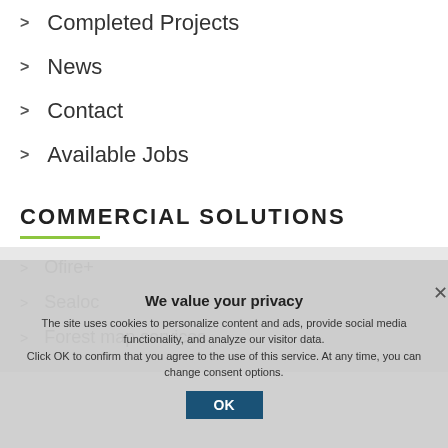> Completed Projects
> News
> Contact
> Available Jobs
COMMERCIAL SOLUTIONS
> Ofire+
> Sealoc
> Forest map services
We value your privacy
The site uses cookies to personalize content and ads, provide social media functionality, and analyze our visitor data.
Click OK to confirm that you agree to the use of this service. At any time, you can change consent options.
OK